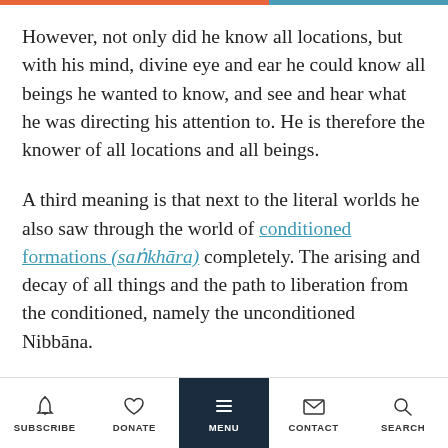However, not only did he know all locations, but with his mind, divine eye and ear he could know all beings he wanted to know, and see and hear what he was directing his attention to. He is therefore the knower of all locations and all beings.
A third meaning is that next to the literal worlds he also saw through the world of conditioned formations (saṅkhāra) completely. The arising and decay of all things and the path to liberation from the conditioned, namely the unconditioned Nibbāna.
SUBSCRIBE  DONATE  MENU  CONTACT  SEARCH